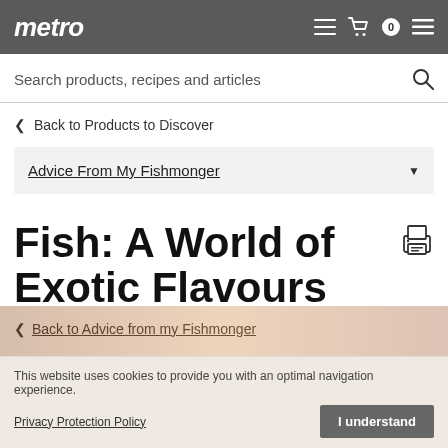metro
Search products, recipes and articles
< Back to Products to Discover
Advice From My Fishmonger
Fish: A World of Exotic Flavours
< Back to Advice from my Fishmonger
This website uses cookies to provide you with an optimal navigation experience.
Privacy Protection Policy
I understand